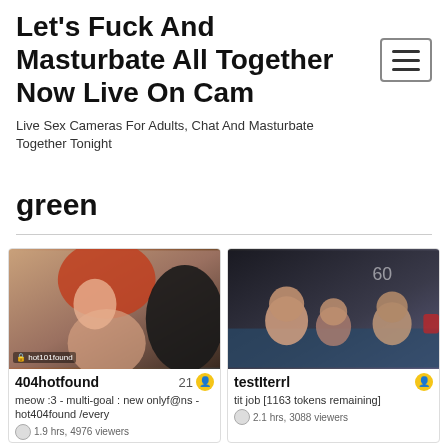Let's Fuck And Masturbate All Together Now Live On Cam
Live Sex Cameras For Adults, Chat And Masturbate Together Tonight
green
[Figure (screenshot): Live cam thumbnail showing a woman with red hair]
404hotfound   21
meow :3 - multi-goal : new onlyf@ns - hot404found /every
1.9 hrs, 4976 viewers
[Figure (screenshot): Live cam thumbnail showing people in a pool/hot tub]
testIterrl
tit job [1163 tokens remaining]
2.1 hrs, 3088 viewers